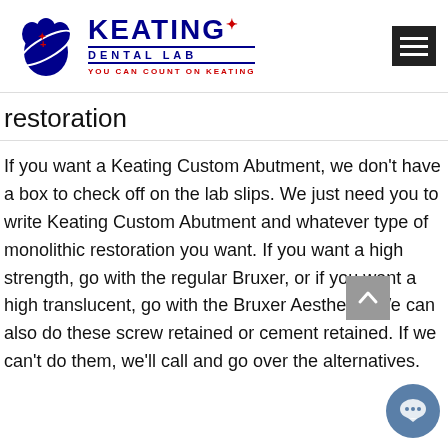[Figure (logo): Keating Dental Lab logo with blue tooth graphic and text 'KEATING DENTAL LAB - YOU CAN COUNT ON KEATING']
restoration
If you want a Keating Custom Abutment, we don't have a box to check off on the lab slips. We just need you to write Keating Custom Abutment and whatever type of monolithic restoration you want. If you want a high strength, go with the regular Bruxer, or if you want a high translucent, go with the Bruxer Aesthetic. We can also do these screw retained or cement retained. If we can't do them, we'll call and go over the alternatives.